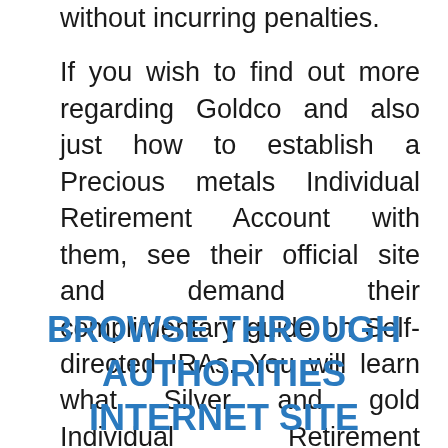without incurring penalties.
If you wish to find out more regarding Goldco and also just how to establish a Precious metals Individual Retirement Account with them, see their official site and demand their complimentary guide on Self-directed IRAs. You will learn what Silver and gold Individual Retirement Accounts are, exactly how you can develop an account, fund your account, and also what kinds of coins and also bars to include in your newly-created account.
BROWSE THROUGH AUTHORITIES INTERNET SITE